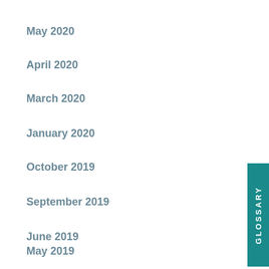May 2020
April 2020
March 2020
January 2020
October 2019
September 2019
June 2019
May 2019